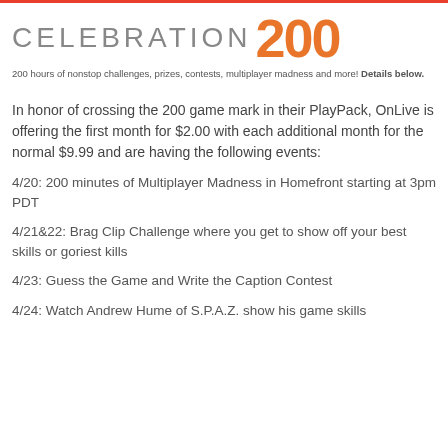[Figure (logo): OnLive Celebration 200 logo header with red top border, gray 'CELEBRATION' text and orange '200' numeral]
200 hours of nonstop challenges, prizes, contests, multiplayer madness and more! Details below.
In honor of crossing the 200 game mark in their PlayPack, OnLive is offering the first month for $2.00 with each additional month for the normal $9.99 and are having the following events:
4/20: 200 minutes of Multiplayer Madness in Homefront starting at 3pm PDT
4/21&22: Brag Clip Challenge where you get to show off your best skills or goriest kills
4/23: Guess the Game and Write the Caption Contest
4/24: Watch Andrew Hume of S.P.A.Z. show his game skills